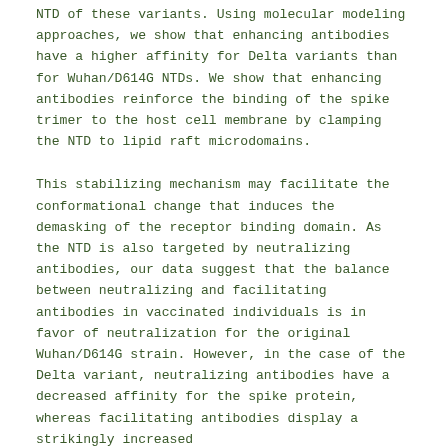NTD of these variants. Using molecular modeling approaches, we show that enhancing antibodies have a higher affinity for Delta variants than for Wuhan/D614G NTDs. We show that enhancing antibodies reinforce the binding of the spike trimer to the host cell membrane by clamping the NTD to lipid raft microdomains.
This stabilizing mechanism may facilitate the conformational change that induces the demasking of the receptor binding domain. As the NTD is also targeted by neutralizing antibodies, our data suggest that the balance between neutralizing and facilitating antibodies in vaccinated individuals is in favor of neutralization for the original Wuhan/D614G strain. However, in the case of the Delta variant, neutralizing antibodies have a decreased affinity for the spike protein, whereas facilitating antibodies display a strikingly increased